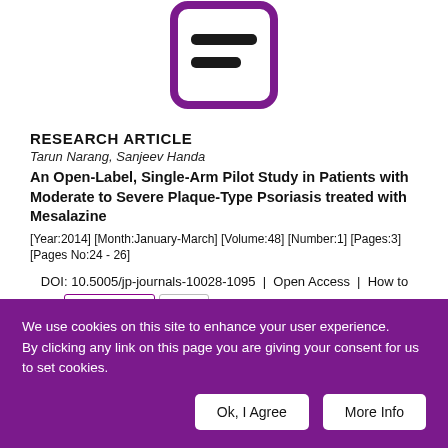[Figure (logo): Purple square logo with two horizontal lines resembling an equals sign or document icon]
RESEARCH ARTICLE
Tarun Narang, Sanjeev Handa
An Open-Label, Single-Arm Pilot Study in Patients with Moderate to Severe Plaque-Type Psoriasis treated with Mesalazine
[Year:2014] [Month:January-March] [Volume:48] [Number:1] [Pages:3] [Pages No:24 - 26]
DOI: 10.5005/jp-journals-10028-1095  |  Open Access  |  How to cite  |  Citations  0
We use cookies on this site to enhance your user experience. By clicking any link on this page you are giving your consent for us to set cookies.